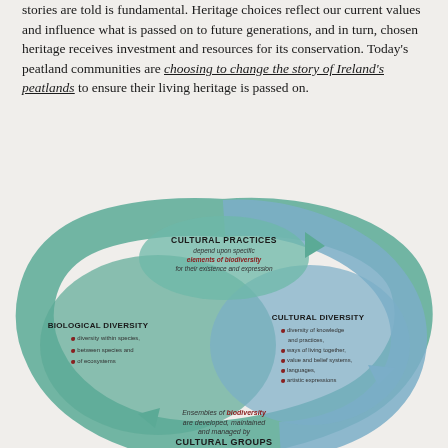stories are told is fundamental. Heritage choices reflect our current values and influence what is passed on to future generations, and in turn, chosen heritage receives investment and resources for its conservation. Today's peatland communities are choosing to change the story of Ireland's peatlands to ensure their living heritage is passed on.
[Figure (infographic): Circular diagram showing the relationship between Cultural Practices, Cultural Diversity, and Biological Diversity. Cultural Practices depend upon specific elements of biodiversity for their existence and expression. Biological Diversity includes diversity within species, between species and of ecosystems. Cultural Diversity includes diversity of knowledge and practices, ways of living together, value and belief systems, languages, artistic expressions. Ensembles of biodiversity are developed, maintained and managed by Cultural Groups.]